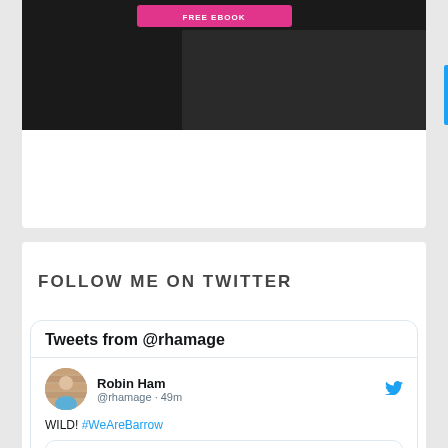[Figure (screenshot): Top card with FREE EBOOK button in pink on dark background with hand image]
FOLLOW ME ON TWITTER
Tweets from @rhamage
Robin Ham @rhamage · 49m
WILD! #WeAreBarrow
Sky Bet Le... @SkyBetLea... · 2h Let's take a look at the table... ••